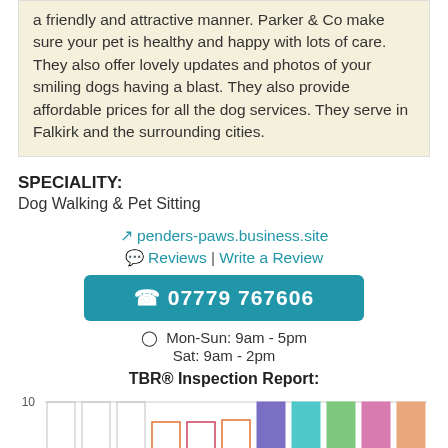a friendly and attractive manner. Parker & Co make sure your pet is healthy and happy with lots of care. They also offer lovely updates and photos of your smiling dogs having a blast. They also provide affordable prices for all the dog services. They serve in Falkirk and the surrounding cities.
SPECIALITY:
Dog Walking & Pet Sitting
penders-paws.business.site
Reviews | Write a Review
07779 767606
Mon-Sun: 9am - 5pm
Sat: 9am - 2pm
TBR® Inspection Report:
[Figure (bar-chart): Bar chart showing TBR inspection scores with y-axis starting at 10, multiple colored bars partially visible at bottom of page]